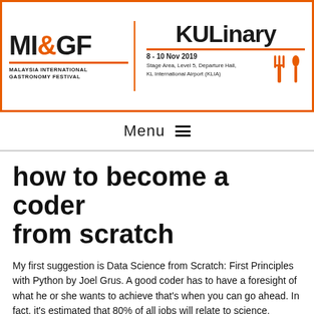[Figure (logo): Malaysia International Gastronomy Festival (MIGF) & KULinary banner. Event dates: 8-10 Nov 2019, Stage Area, Level 5, Departure Hall, KL International Airport (KLIA). Orange border with fork and knife icon.]
Menu ≡
how to become a coder from scratch
My first suggestion is Data Science from Scratch: First Principles with Python by Joel Grus. A good coder has to have a foresight of what he or she wants to achieve that's when you can go ahead. In fact, it's estimated that 80% of all jobs will relate to science, technology, engineering and maths (STEM) – and coding is expected to play a central role. You have picked a programming field, you have started